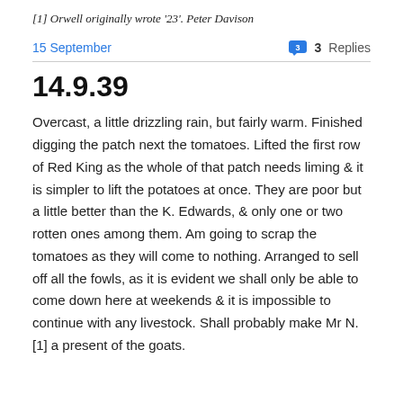[1] Orwell originally wrote '23'. Peter Davison
15 September  💬 3 Replies
14.9.39
Overcast, a little drizzling rain, but fairly warm. Finished digging the patch next the tomatoes. Lifted the first row of Red King as the whole of that patch needs liming & it is simpler to lift the potatoes at once. They are poor but a little better than the K. Edwards, & only one or two rotten ones among them. Am going to scrap the tomatoes as they will come to nothing. Arranged to sell off all the fowls, as it is evident we shall only be able to come down here at weekends & it is impossible to continue with any livestock. Shall probably make Mr N.[1] a present of the goats.